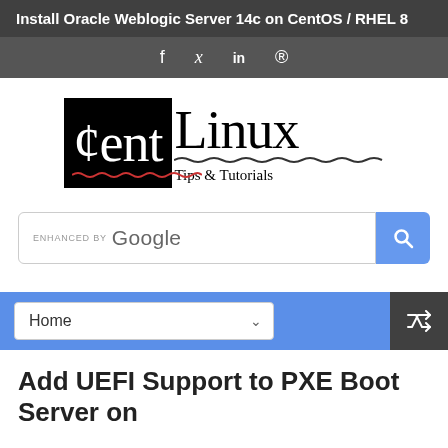Install Oracle Weblogic Server 14c on CentOS / RHEL 8
[Figure (logo): CentLinux Tips & Tutorials logo — black box with cent symbol and 'ent' text, 'Linux' in large type, wavy underlines, tagline 'Tips & Tutorials']
[Figure (screenshot): Enhanced by Google search bar with blue search button]
[Figure (screenshot): Blue navigation bar with Home dropdown and shuffle icon]
Add UEFI Support to PXE Boot Server on